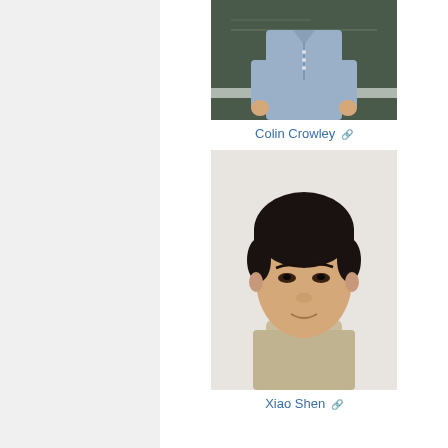[Figure (photo): Photo of Colin Crowley standing in front of a blackboard, wearing a light blue short-sleeve button-up shirt]
Colin Crowley ↗
[Figure (photo): Headshot of Xiao Shen, young man with short dark hair, wearing a light khaki polo shirt, against a white background]
Xiao Shen ↗